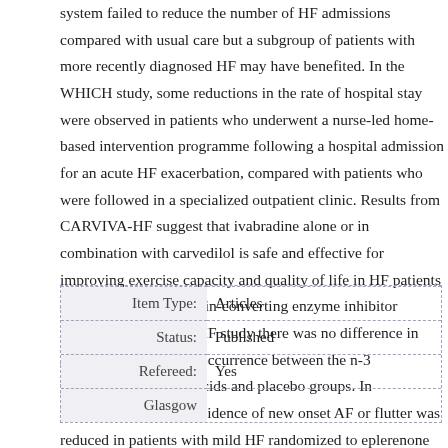system failed to reduce the number of HF admissions compared with usual care but a subgroup of patients with more recently diagnosed HF may have benefited. In the WHICH study, some reductions in the rate of hospital stay were observed in patients who underwent a nurse-led home-based intervention programme following a hospital admission for an acute HF exacerbation, compared with patients who were followed in a specialized outpatient clinic. Results from CARVIVA-HF suggest that ivabradine alone or in combination with carvedilol is safe and effective for improving exercise capacity and quality of life in HF patients on optimized angiotensin-converting enzyme inhibitor therapy. In the GISSI-HF study there was no difference in atrial fibrillation (AF) occurrence between the n-3 polyunsaturated fatty acids and placebo groups. In EMPHASIS-HF the incidence of new onset AF or flutter was reduced in patients with mild HF randomized to eplerenone compared with placebo.
| Field | Value |
| --- | --- |
| Item Type: | Articles |
| Status: | Published |
| Refereed: | Yes |
| Glasgow |  |